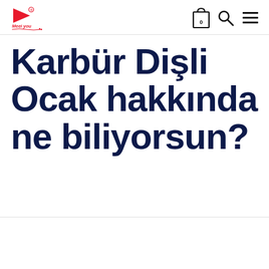Meei you — header with logo, cart, search, and menu icons
Karbür Dişli Ocak hakkında ne biliyorsun?